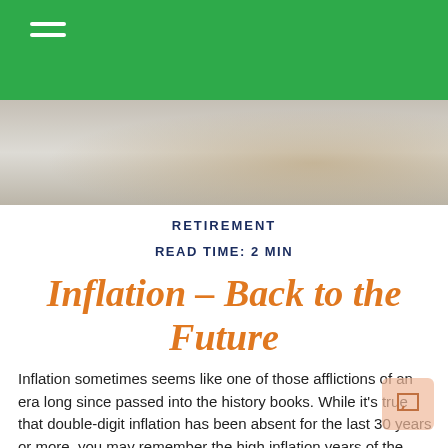RETIREMENT
READ TIME: 2 MIN
[Figure (photo): Hero image showing a desk with papers and a wooden surface, soft focus background]
Inflation – Back to the Future
Inflation sometimes seems like one of those afflictions of an era long since passed into the history books. While it's true that double-digit inflation has been absent for the last 30 years or more, you may remember the high inflation years of the 1970s.¹